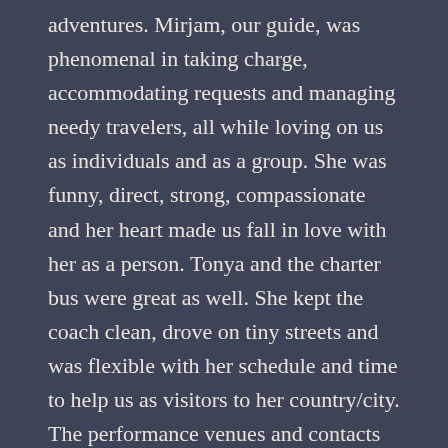adventures. Mirjam, our guide, was phenomenal in taking charge, accommodating requests and managing needy travelers, all while loving on us as individuals and as a group. She was funny, direct, strong, compassionate and her heart made us fall in love with her as a person. Tonya and the charter bus were great as well. She kept the coach clean, drove on tiny streets and was flexible with her schedule and time to help us as visitors to her country/city. The performance venues and contacts were unbelievable. Each were unique, friendly and acoustically and musically a blessing to perform in. The participation in the mass at the Basilica de Fatima was